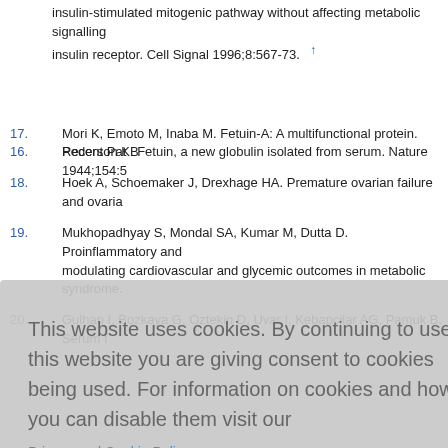insulin-stimulated mitogenic pathway without affecting metabolic signalling insulin receptor. Cell Signal 1996;8:567-73. ↑
16. Pederson K. Fetuin, a new globulin isolated from serum. Nature 1944;154:5
17. Mori K, Emoto M, Inaba M. Fetuin-A: A multifunctional protein. Recent Pat B
18. Hoek A, Schoemaker J, Drexhage HA. Premature ovarian failure and ovaria
19. Mukhopadhyay S, Mondal SA, Kumar M, Dutta D. Proinflammatory and modulating cardiovascular and glycemic outcomes in metabolic syndrome.
20. Gulhan I, Bozkaya G, Oztekin D, Uvar I, Kebapcilar AG, Pamuk B. Serum f
This website uses cookies. By continuing to use this website you are giving consent to cookies being used. For information on cookies and how you can disable them visit our
Privacy and Cookie Policy.
AGREE & PROCEED